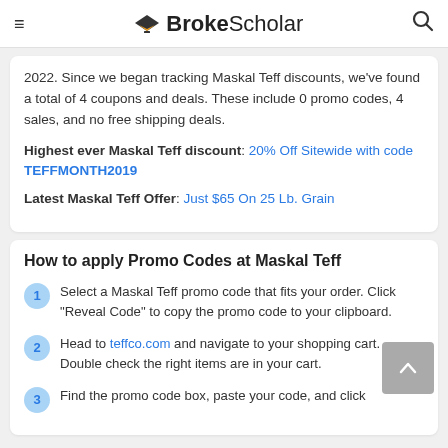BrokeScholar
2022. Since we began tracking Maskal Teff discounts, we've found a total of 4 coupons and deals. These include 0 promo codes, 4 sales, and no free shipping deals.
Highest ever Maskal Teff discount: 20% Off Sitewide with code TEFFMONTH2019
Latest Maskal Teff Offer: Just $65 On 25 Lb. Grain
How to apply Promo Codes at Maskal Teff
Select a Maskal Teff promo code that fits your order. Click "Reveal Code" to copy the promo code to your clipboard.
Head to teffco.com and navigate to your shopping cart. Double check the right items are in your cart.
Find the promo code box, paste your code, and click